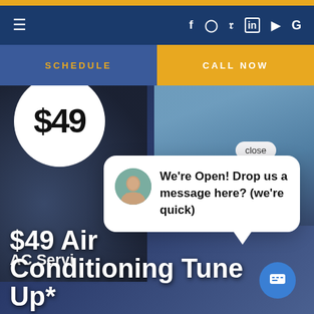[Figure (screenshot): Website screenshot showing navigation bar with hamburger menu and social media icons (Facebook, Instagram, Twitter, LinkedIn, YouTube, Google) on dark navy background with gold top bar]
SCHEDULE
CALL NOW
[Figure (photo): HVAC technician working on air conditioning unit with $49 price circle overlay, AC equipment on right side]
AC Servi
$49 Air Conditioning Tune Up*
close
We're Open! Drop us a message here? (we're quick)